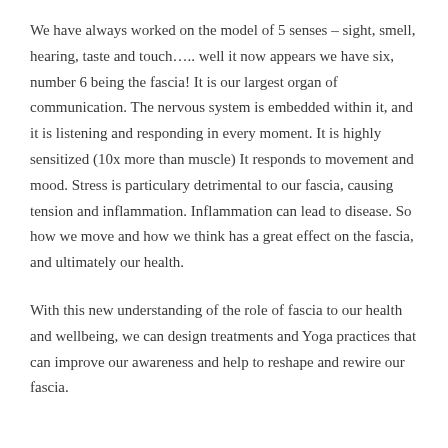We have always worked on the model of 5 senses – sight, smell, hearing, taste and touch….. well it now appears we have six, number 6 being the fascia!  It is our largest organ of communication.  The nervous system is embedded within it, and it is listening and responding in every moment.  It is highly sensitized (10x more than muscle)  It responds to movement and mood.  Stress is particulary detrimental to our fascia, causing tension and inflammation.   Inflammation can lead to disease.  So how we move and how we think has a great effect on the fascia, and ultimately our health.
With this new understanding of the role of fascia to our health and wellbeing, we can design treatments and Yoga practices that can improve our awareness and help to reshape and rewire our fascia.